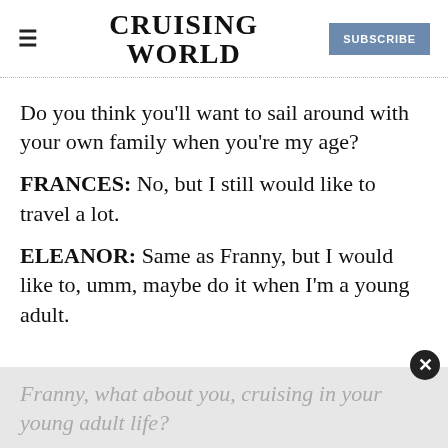CRUISING WORLD | SUBSCRIBE
Do you think you'll want to sail around with your own family when you're my age?
FRANCES: No, but I still would like to travel a lot.
ELEANOR: Same as Franny, but I would like to, umm, maybe do it when I'm a young adult.
Franny, what about you, cruising in your young adult life?